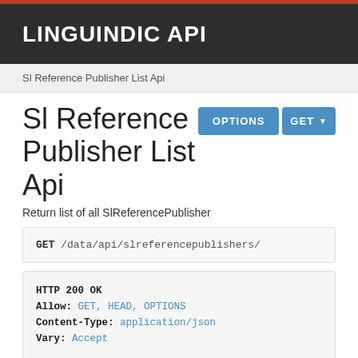LINGUINDIC API
Sl Reference Publisher List Api
Sl Reference Publisher List Api
Return list of all SlReferencePublisher
GET /data/api/slreferencepublishers/
HTTP 200 OK
Allow: GET, HEAD, OPTIONS
Content-Type: application/json
Vary: Accept

[
    {
        "id": 1,
        "name": "Prāchya Bhāratī Prakāshana",